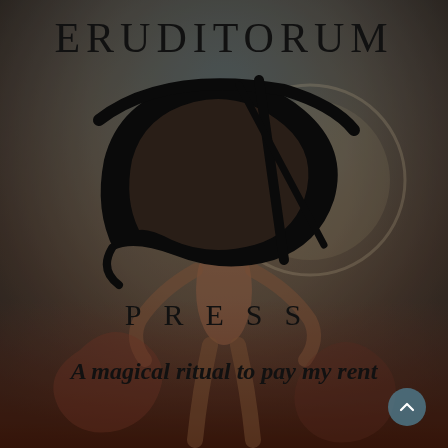[Figure (illustration): Full-page background illustration in muted earthy tones (deep teal, olive, brown, rose) showing a stylized human figure in a dramatic pose — appears to be based on William Blake's visionary art style. The figure is muscular, arms raised or outstretched, surrounded by circular/organic forms.]
ERUDITORUM
[Figure (logo): Eruditorum Press logo: a large stylized cursive 'EP' monogram in black, with flowing calligraphic strokes. The 'E' curves into a large oval/ellipse shape, and a 'P' with a slanted stem intersects it.]
PRESS
A magical ritual to pay my rent